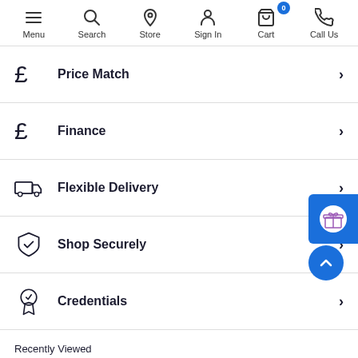Menu | Search | Store | Sign In | Cart (0) | Call Us
Price Match
Finance
Flexible Delivery
Shop Securely
Credentials
Recently Viewed